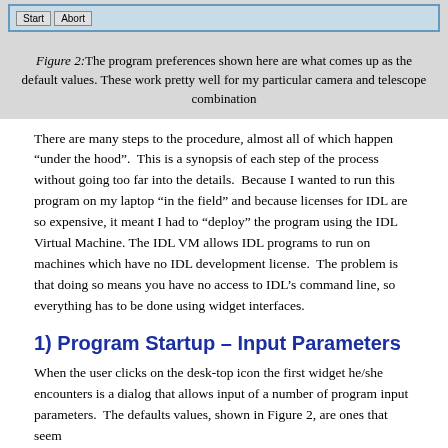[Figure (screenshot): Screenshot showing Start and Abort buttons in a program interface dialog]
Figure 2: The program preferences shown here are what comes up as the default values. These work pretty well for my particular camera and telescope combination
There are many steps to the procedure, almost all of which happen “under the hood”.  This is a synopsis of each step of the process without going too far into the details.  Because I wanted to run this program on my laptop “in the field” and because licenses for IDL are so expensive, it meant I had to “deploy” the program using the IDL Virtual Machine.  The IDL VM allows IDL programs to run on machines which have no IDL development license.  The problem is that doing so means you have no access to IDL’s command line, so everything has to be done using widget interfaces.
1) Program Startup – Input Parameters
When the user clicks on the desk-top icon the first widget he/she encounters is a dialog that allows input of a number of program input parameters.  The defaults values, shown in Figure 2, are ones that seem